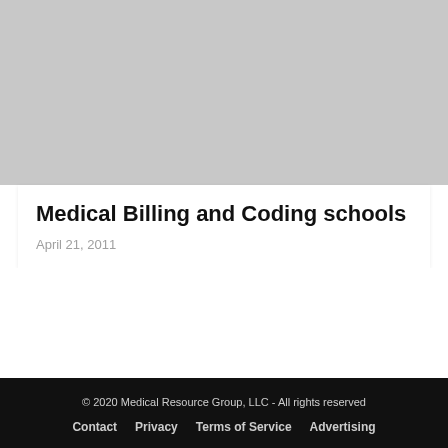[Figure (photo): Gray placeholder image at the top of the page]
Medical Billing and Coding schools
April 21, 2011
© 2020 Medical Resource Group, LLC - All rights reserved
Contact  Privacy  Terms of Service  Advertising